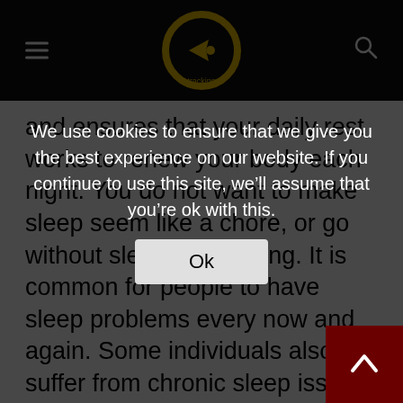Goal Tracking (logo with hamburger menu and search icon)
and ensures that your daily rest works to renew your body each night. You do not want to make sleep seem like a chore, or go without sleep for too long. It is common for people to have sleep problems every now and again. Some individuals also suffer from chronic sleep issues such as insomnia. If you are looking for a good night's sleep, then here are a few tips to help you get a restful sleep.
Set a schedule
You need to set a time each night to settle down to bed, and a time for each morning that you wake up. If you are going to bed at irregular times, then this can lead to insomnia. If you are
We use cookies to ensure that we give you the best experience on our website. If you continue to use this site, we'll assume that you're ok with this.